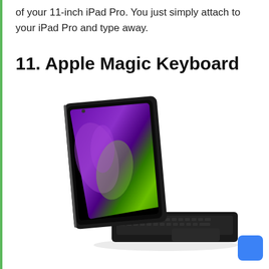of your 11-inch iPad Pro. You just simply attach to your iPad Pro and type away.
11. Apple Magic Keyboard
[Figure (photo): Apple Magic Keyboard with trackpad attached to an 11-inch iPad Pro, shown at an angle with the iPad screen displaying a purple and green abstract wallpaper.]